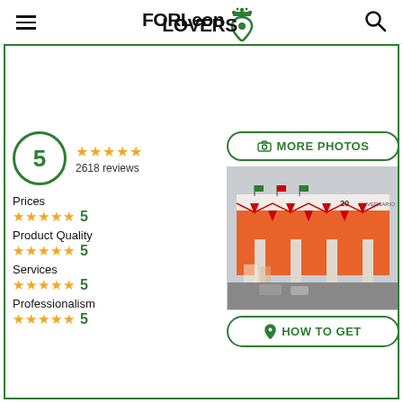FORLeon LOVERS
[Figure (screenshot): FORLeon Lovers website screenshot showing a business listing with rating 5, 2618 reviews, category scores for Prices (5), Product Quality (5), Services (5), Professionalism (5), a store photo, More Photos button, and How to Get button.]
5  2618 reviews
Prices  5
Product Quality  5
Services  5
Professionalism  5